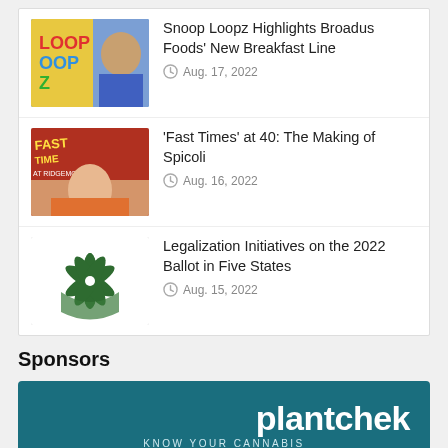Snoop Loopz Highlights Broadus Foods' New Breakfast Line — Aug. 17, 2022
'Fast Times' at 40: The Making of Spicoli — Aug. 16, 2022
Legalization Initiatives on the 2022 Ballot in Five States — Aug. 15, 2022
Sponsors
[Figure (advertisement): Plantchek advertisement: teal background with white logo 'plantchek', tagline 'KNOW YOUR CANNABIS', text 'Quick, easy and accurate THC & CBD potency tests']